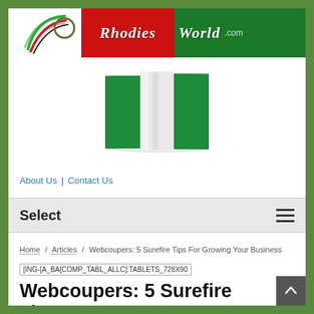[Figure (logo): RhodiesWorld.com logo with swoosh graphic on left and red/green text banner on right]
[Figure (illustration): 3D rendered Nigerian flag (green-white-green) waving]
About Us | Contact Us
Select
Home / Articles / Webcoupers: 5 Surefire Tips For Growing Your Business
[Figure (other): Ad placeholder: [ING-[A_BA[COMP_TABL_ALLC]:TABLETS_728X90]
Webcoupers: 5 Surefire Tips For Growing Your Business